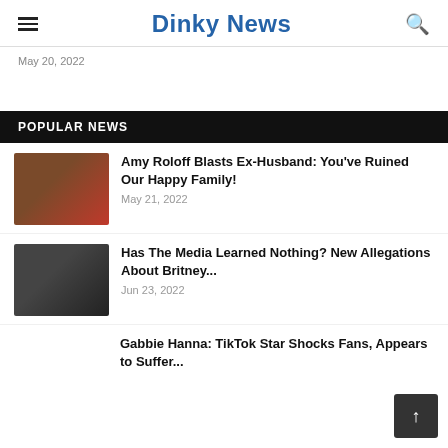Dinky News
May 20, 2022
POPULAR NEWS
Amy Roloff Blasts Ex-Husband: You've Ruined Our Happy Family!
May 21, 2022
Has The Media Learned Nothing? New Allegations About Britney...
Jun 23, 2022
Gabbie Hanna: TikTok Star Shocks Fans, Appears to Suffer...